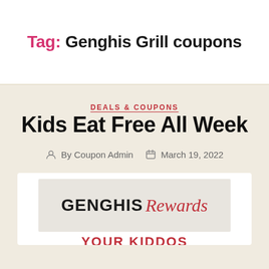Tag: Genghis Grill coupons
DEALS & COUPONS
Kids Eat Free All Week
By Coupon Admin  March 19, 2022
[Figure (logo): Genghis Rewards logo on light gray textured background, with 'GENGHIS' in bold black uppercase and 'Rewards' in red italic script]
YOUR KIDDOS